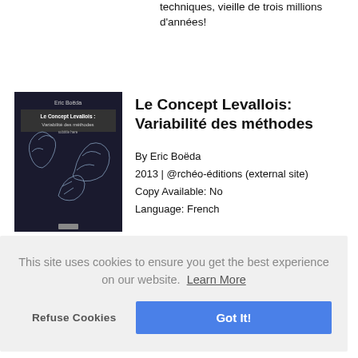techniques, vieille de trois millions d'années!
[Figure (illustration): Book cover of 'Le Concept Levallois: Variabilité des méthodes' by Eric Boëda, dark background with white line drawings of stone tools]
Le Concept Levallois: Variabilité des méthodes
By Eric Boëda
2013 | @rchéo-éditions (external site)
Copy Available: No
Language: French
This site uses cookies to ensure you get the best experience on our website. Learn More
Refuse Cookies
Got It!
moderne, d'exception française, nous